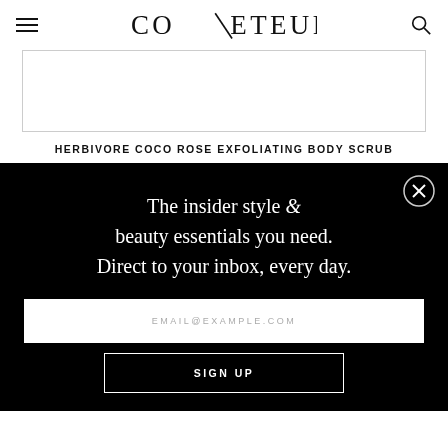COVETEUR
[Figure (photo): White/blank product image area with border]
HERBIVORE COCO ROSE EXFOLIATING BODY SCRUB
The insider style & beauty essentials you need. Direct to your inbox, every day.
EMAIL@EXAMPLE.COM
SIGN UP